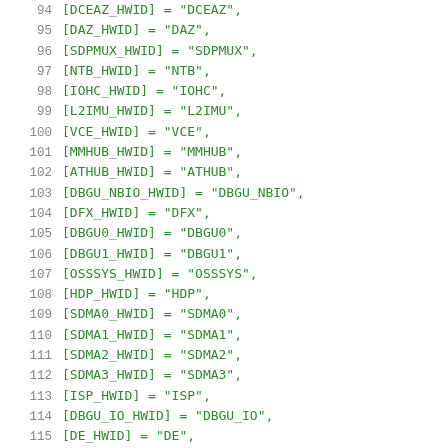94  [DCEAZ_HWID]  = "DCEAZ",
95  [DAZ_HWID]  = "DAZ",
96  [SDPMUX_HWID]  = "SDPMUX",
97  [NTB_HWID]  = "NTB",
98  [IOHC_HWID]  = "IOHC",
99  [L2IMU_HWID]  = "L2IMU",
100 [VCE_HWID]  = "VCE",
101 [MMHUB_HWID]  = "MMHUB",
102 [ATHUB_HWID]  = "ATHUB",
103 [DBGU_NBIO_HWID]  = "DBGU_NBIO",
104 [DFX_HWID]  = "DFX",
105 [DBGU0_HWID]  = "DBGU0",
106 [DBGU1_HWID]  = "DBGU1",
107 [OSSSYS_HWID]  = "OSSSYS",
108 [HDP_HWID]  = "HDP",
109 [SDMA0_HWID]  = "SDMA0",
110 [SDMA1_HWID]  = "SDMA1",
111 [SDMA2_HWID]  = "SDMA2",
112 [SDMA3_HWID]  = "SDMA3",
113 [ISP_HWID]  = "ISP",
114 [DBGU_IO_HWID]  = "DBGU_IO",
115 [DE_HWID]  = "DE"